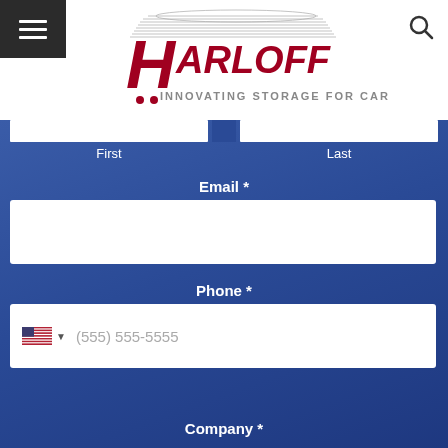[Figure (logo): Harloff logo — red bold italic text reading HARLOFF with tagline INNOVATING STORAGE FOR CARE]
First
Last
Email *
Phone *
(555) 555-5555
Company *